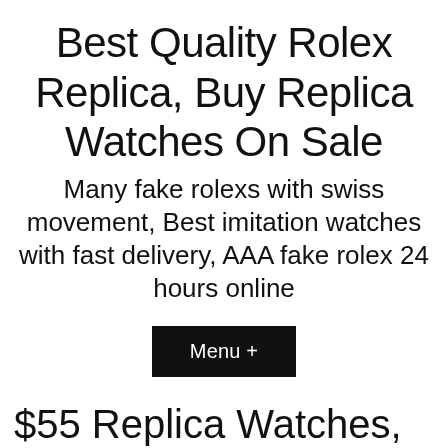Best Quality Rolex Replica, Buy Replica Watches On Sale
Many fake rolexs with swiss movement, Best imitation watches with fast delivery, AAA fake rolex 24 hours online
Menu +
$55 Replica Watches, Franck Muller Replica